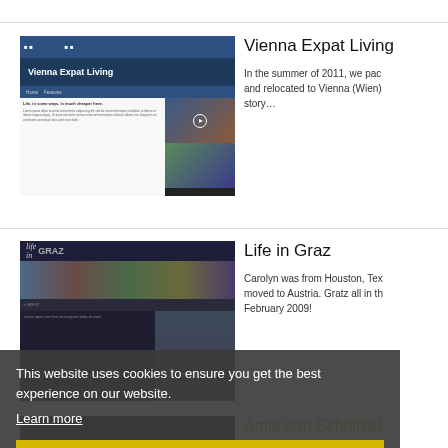[Figure (screenshot): Screenshot of Vienna Expat Living blog website]
Vienna Expat Living
In the summer of 2011, we packed and relocated to Vienna (Wien) story…
[Figure (screenshot): Screenshot of Life in Graz blog website]
Life in Graz
Carolyn was from Houston, Tex moved to Austria. Gratz all in th February 2009!
This website uses cookies to ensure you get the best experience on our website.
Learn more
Got it!
[Figure (screenshot): Screenshot of American Schnitzel blog website]
American Schnitzel
A American who moved from su Vienna in Austria. She moved to